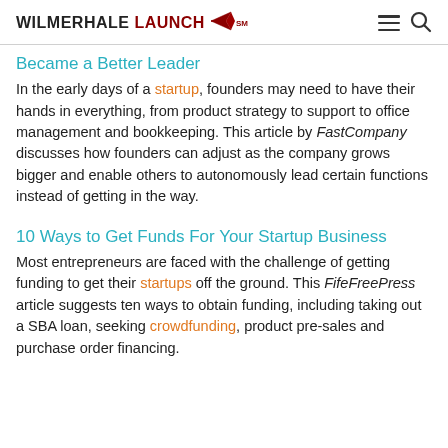WILMERHALE LAUNCH
Became a Better Leader
In the early days of a startup, founders may need to have their hands in everything, from product strategy to support to office management and bookkeeping. This article by FastCompany discusses how founders can adjust as the company grows bigger and enable others to autonomously lead certain functions instead of getting in the way.
10 Ways to Get Funds For Your Startup Business
Most entrepreneurs are faced with the challenge of getting funding to get their startups off the ground. This FifeFreePress article suggests ten ways to obtain funding, including taking out a SBA loan, seeking crowdfunding, product pre-sales and purchase order financing.